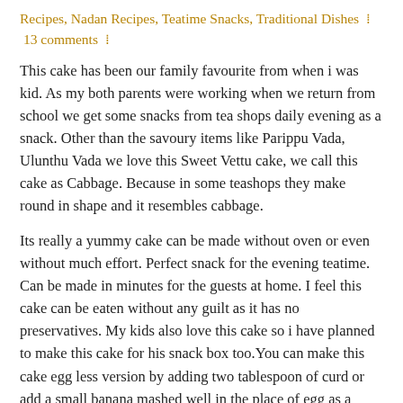Recipes, Nadan Recipes, Teatime Snacks, Traditional Dishes  ⁞  13 comments  ⁞
This cake has been our family favourite from when i was kid. As my both parents were working when we return from school we get some snacks from tea shops daily evening as a snack. Other than the savoury items like Parippu Vada, Ulunthu Vada we love this Sweet Vettu cake, we call this cake as Cabbage. Because in some teashops they make round in shape and it resembles cabbage.
Its really a yummy cake can be made without oven or even without much effort. Perfect snack for the evening teatime. Can be made in minutes for the guests at home. I feel this cake can be eaten without any guilt as it has no preservatives. My kids also love this cake so i have planned to make this cake for his snack box too.You can make this cake egg less version by adding two tablespoon of curd or add a small banana mashed well in the place of egg as a substitute. If you are making say 2 cups double all the ingredients and follow the same recipe.